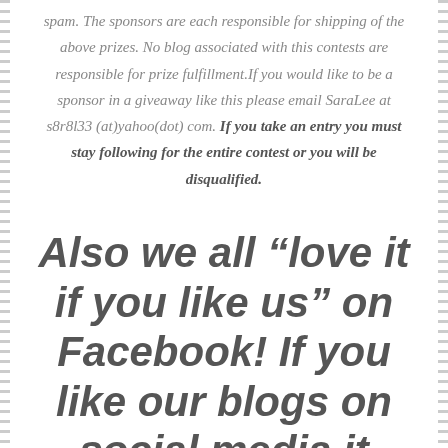spam. The sponsors are each responsible for shipping of the above prizes. No blog associated with this contests are responsible for prize fulfillment.If you would like to be a sponsor in a giveaway like this please email SaraLee at s8r8l33 (at)yahoo(dot) com. If you take an entry you must stay following for the entire contest or you will be disqualified.
Also we all “love it if you like us” on Facebook! If you like our blogs on social media it helps us bring you only the best giveaways and more of them! Don’t